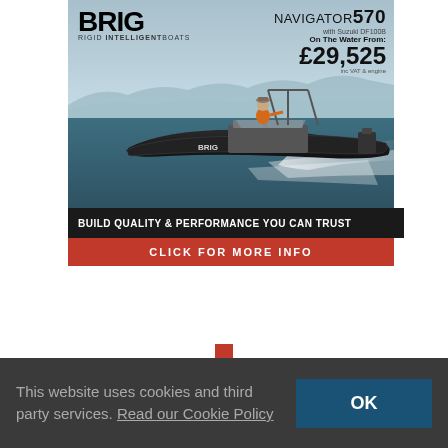[Figure (illustration): BRIG Navigator 570 advertisement banner featuring a RIB boat speeding on open water with a person in an orange life jacket at the helm. Sky and sea background. Contains BRIG logo top left, NAVIGATOR 570 with price £29,525 top right, black bar 'BUILD QUALITY & PERFORMANCE YOU CAN TRUST', red bar 'CLICK FOR MORE INFO'.]
This website uses cookies and third party services. Read our Cookie Policy
OK